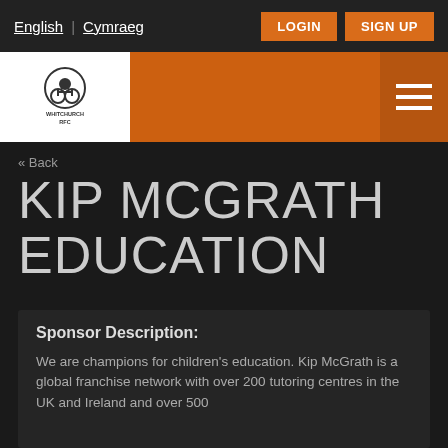English | Cymraeg  LOGIN  SIGN UP
[Figure (logo): Whitchurch RFC logo — rugby player in wheelchair with text WHITCHURCH RFC]
« Back
KIP MCGRATH EDUCATION
Sponsor Description:
We are champions for children's education. Kip McGrath is a global franchise network with over 200 tutoring centres in the UK and Ireland and over 500...